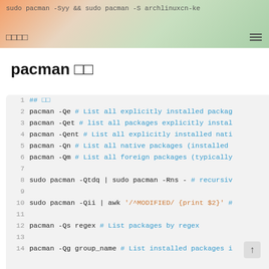sudo pacman -Syy && sudo pacman -S archlinuxcn-ke | □□□□
pacman □□
[Figure (screenshot): Code block showing pacman commands with line numbers 1-14. Line 1: ## □□, Lines 2-6: pacman -Qe, pacman -Qet, pacman -Qent, pacman -Qn, pacman -Qm with comments, Line 7: empty, Line 8: sudo pacman -Qtdq | sudo pacman -Rns - # recursiv, Line 9: empty, Line 10: sudo pacman -Qii | awk '/^MODIFIED/ {print $2}' #, Line 11: empty, Line 12: pacman -Qs regex # List packages by regex, Line 13: empty, Line 14: pacman -Qg group_name # List installed packages i]